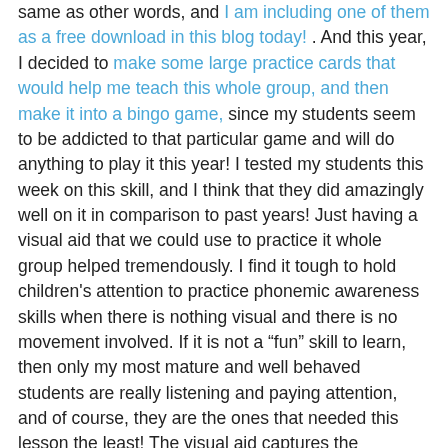same as other words, and I am including one of them as a free download in this blog today! . And this year, I decided to make some large practice cards that would help me teach this whole group, and then make it into a bingo game, since my students seem to be addicted to that particular game and will do anything to play it this year! I tested my students this week on this skill, and I think that they did amazingly well on it in comparison to past years! Just having a visual aid that we could use to practice it whole group helped tremendously. I find it tough to hold children's attention to practice phonemic awareness skills when there is nothing visual and there is no movement involved. If it is not a “fun” skill to learn, then only my most mature and well behaved students are really listening and paying attention, and of course, they are the ones that needed this lesson the least! The visual aid captures the attention of more of the children and helps them pay attention. And, the more focused their